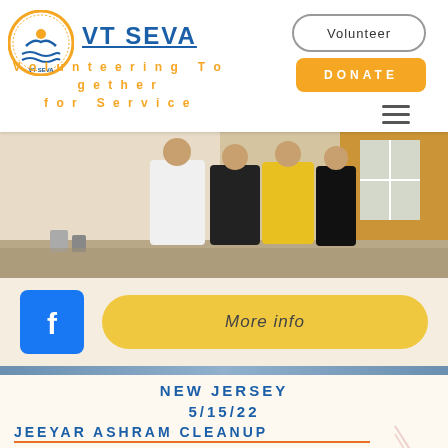VT SEVA — Volunteering Together for Service
[Figure (logo): VT Seva circular logo with people and waves]
[Figure (photo): People standing in a room being cleaned, ashram cleanup photo]
[Figure (logo): Facebook icon button]
More info
NEW JERSEY 5/15/22
JEEYAR ASHRAM CLEANUP
Abhijay , Mahipal , Praveen Gurram, Venu Madhav, Giri Vedantham Ravi puskur, Mahesh Vemula , Suchir and Suchir Mididoddi, Vijitha , Rashmi , Sumati and Kavitha Cleaned the Yagashala and blew all the dirt and leaves. They removed all the large items and neatly arranged